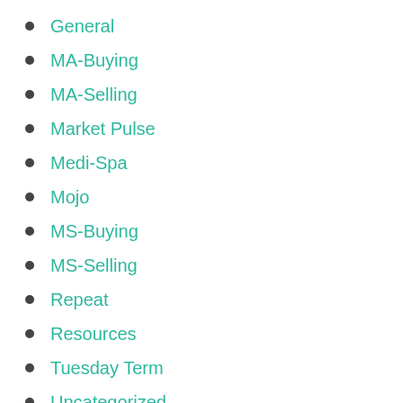General
MA-Buying
MA-Selling
Market Pulse
Medi-Spa
Mojo
MS-Buying
MS-Selling
Repeat
Resources
Tuesday Term
Uncategorized